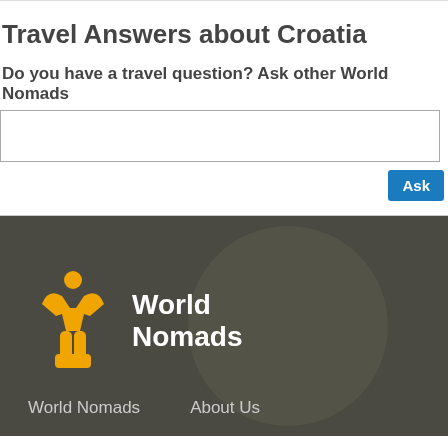Travel Answers about Croatia
Do you have a travel question? Ask other World Nomads
[Figure (screenshot): Text input box for asking a travel question]
[Figure (logo): World Nomads logo with yellow icon and white text on dark background]
World Nomads    About Us